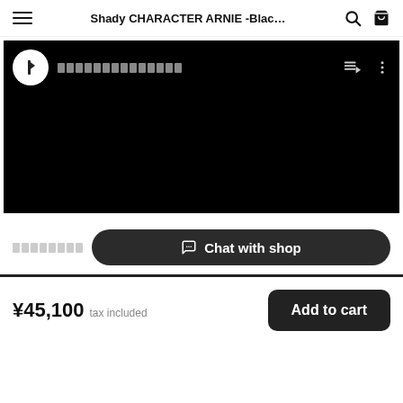Shady CHARACTER ARNIE -Blac…
[Figure (screenshot): A black video/media player interface with a white circular avatar icon showing a dark bookmark shape, placeholder text in white boxes for channel name, and playback queue and more-options icons on the right. The main area is solid black.]
░░░░░░░░
Chat with shop
¥45,100  tax included
Add to cart